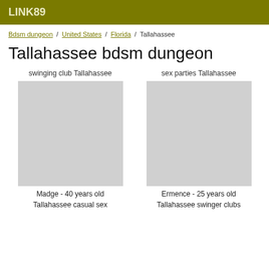LINK89
Bdsm dungeon / United States / Florida / Tallahassee
Tallahassee bdsm dungeon
swinging club Tallahassee
sex parties Tallahassee
Madge - 40 years old
Ermence - 25 years old
Tallahassee casual sex
Tallahassee swinger clubs